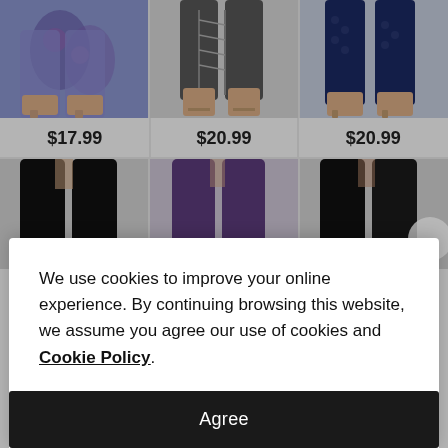[Figure (photo): Three product images of leggings from top row with prices $17.99, $20.99, $20.99]
$17.99
$20.99
$20.99
[Figure (photo): Three product images of leggings from bottom row (black, purple, black)]
We use cookies to improve your online experience. By continuing browsing this website, we assume you agree our use of cookies and Cookie Policy.
Agree